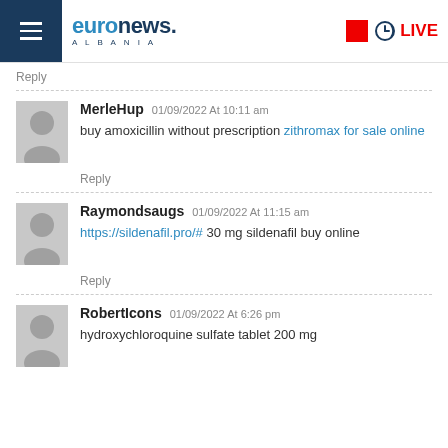euronews. ALBANIA | LIVE
Reply
MerleHup 01/09/2022 At 10:11 am — buy amoxicillin without prescription zithromax for sale online
Reply
Raymondsaugs 01/09/2022 At 11:15 am — https://sildenafil.pro/# 30 mg sildenafil buy online
Reply
RobertIcons 01/09/2022 At 6:26 pm — hydroxychloroquine sulfate tablet 200 mg